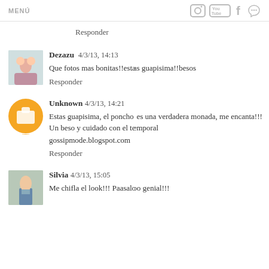MENÚ
Responder
Dezazu  4/3/13, 14:13
Que fotos mas bonitas!!estas guapisima!!besos
Responder
Unknown 4/3/13, 14:21
Estas guapisima, el poncho es una verdadera monada, me encanta!!!
Un beso y cuidado con el temporal
gossipmode.blogspot.com
Responder
Silvia 4/3/13, 15:05
Me chifla el look!!! Paasaloo genial!!!